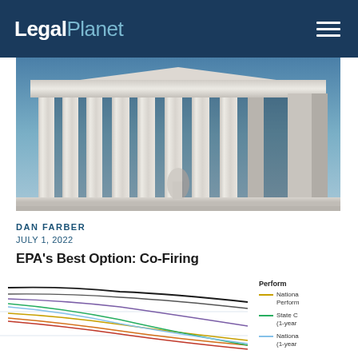LegalPlanet
[Figure (photo): Photograph of the US Supreme Court building columns and facade, blue sky visible]
DAN FARBER
JULY 1, 2022
EPA's Best Option: Co-Firing
[Figure (line-chart): Multi-line performance chart with several colored lines (black, gray, purple, yellow, orange, red, green, light blue) trending downward from left to right. Legend partially visible showing: 'Perform...', 'Nationa... Perform...', 'State C... (1-year...)', 'Nationa... (1-year...)']